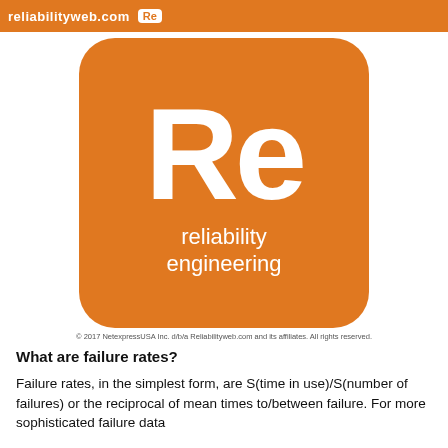reliabilityweb.com Re
[Figure (logo): Orange rounded-square logo with large white 'Re' letters and text 'reliability engineering' below on orange background]
© 2017 NetexpressUSA Inc. d/b/a Reliabilityweb.com and its affiliates. All rights reserved.
What are failure rates?
Failure rates, in the simplest form, are S(time in use)/S(number of failures) or the reciprocal of mean times to/between failure. For more sophisticated failure data